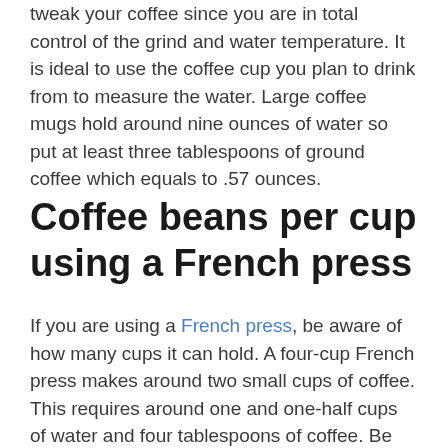tweak your coffee since you are in total control of the grind and water temperature. It is ideal to use the coffee cup you plan to drink from to measure the water. Large coffee mugs hold around nine ounces of water so put at least three tablespoons of ground coffee which equals to .57 ounces.
Coffee beans per cup using a French press
If you are using a French press, be aware of how many cups it can hold. A four-cup French press makes around two small cups of coffee. This requires around one and one-half cups of water and four tablespoons of coffee. Be sure to grind the coffee beans until the coffee grounds are the size of flakes of salt